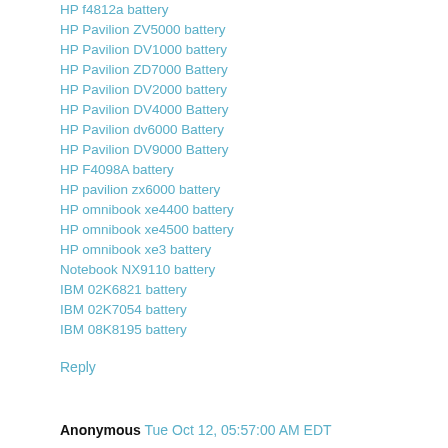HP f4812a battery
HP Pavilion ZV5000 battery
HP Pavilion DV1000 battery
HP Pavilion ZD7000 Battery
HP Pavilion DV2000 battery
HP Pavilion DV4000 Battery
HP Pavilion dv6000 Battery
HP Pavilion DV9000 Battery
HP F4098A battery
HP pavilion zx6000 battery
HP omnibook xe4400 battery
HP omnibook xe4500 battery
HP omnibook xe3 battery
Notebook NX9110 battery
IBM 02K6821 battery
IBM 02K7054 battery
IBM 08K8195 battery
Reply
Anonymous Tue Oct 12, 05:57:00 AM EDT